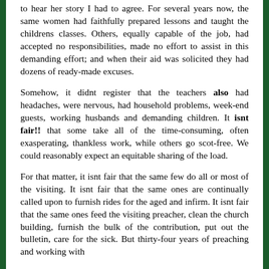to hear her story I had to agree. For several years now, the same women had faithfully prepared lessons and taught the childrens classes. Others, equally capable of the job, had accepted no responsibilities, made no effort to assist in this demanding effort; and when their aid was solicited they had dozens of ready-made excuses.
Somehow, it didnt register that the teachers also had headaches, were nervous, had household problems, week-end guests, working husbands and demanding children. It isnt fair!! that some take all of the time-consuming, often exasperating, thankless work, while others go scot-free. We could reasonably expect an equitable sharing of the load.
For that matter, it isnt fair that the same few do all or most of the visiting. It isnt fair that the same ones are continually called upon to furnish rides for the aged and infirm. It isnt fair that the same ones feed the visiting preacher, clean the church building, furnish the bulk of the contribution, put out the bulletin, care for the sick. But thirty-four years of preaching and working with